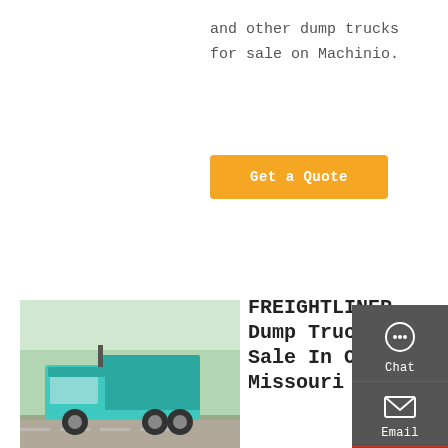and other dump trucks for sale on Machinio.
Get a Quote
[Figure (photo): Teal/turquoise dump truck parked on a road with trees in background]
FREIGHTLINER Dump Trucks For Sale In Osceola Missouri
Used Freightliner Dump Trucks For Sale in Osceola, MO: 8 Dump Trucks Near You - Find Used Freightliner Dump Trucks on Equipment
Chat
Email
Contact
Top